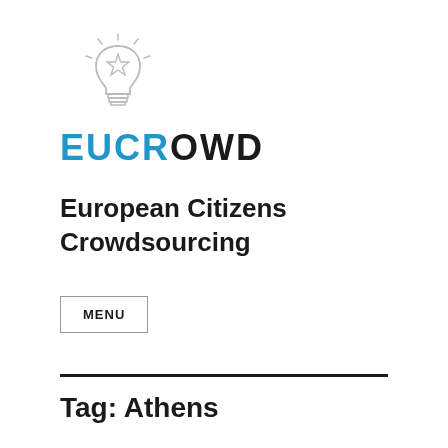[Figure (logo): EUCROWD logo: lightbulb icon with a star inside, above the text EUCROWD in blue and dark letters]
European Citizens Crowdsourcing
MENU
Tag: Athens